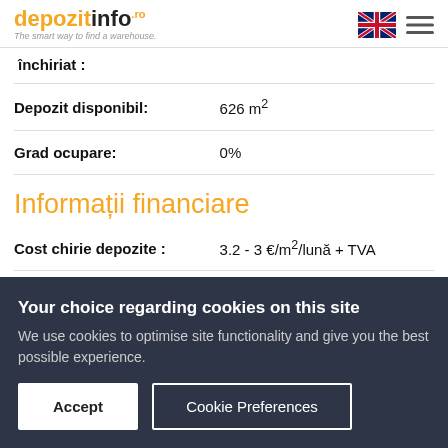depozitinfo.ro — The smart way to find a warehouse.
închiriat :
| Property | Value |
| --- | --- |
| Depozit disponibil: | 626 m² |
| Grad ocupare: | 0% |
Informații financiare
| Property | Value |
| --- | --- |
| Cost chirie depozite : | 3.2 - 3 €/m²/lună + TVA |
| Costuri întreținere: | 110 € /m²/lună + TVA |
Your choice regarding cookies on this site
We use cookies to optimise site functionality and give you the best possible experience.
Accept
Cookie Preferences